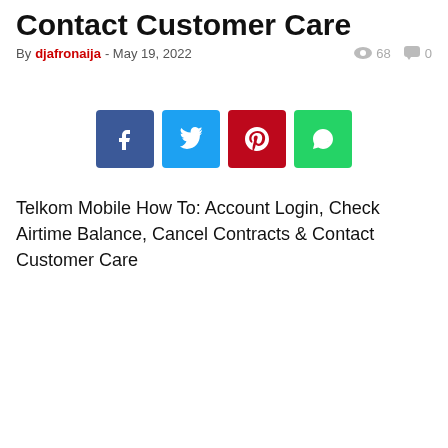Contact Customer Care
By djafronaija - May 19, 2022  68  0
[Figure (other): Social share buttons: Facebook (blue), Twitter (light blue), Pinterest (red), WhatsApp (green)]
Telkom Mobile How To: Account Login, Check Airtime Balance, Cancel Contracts & Contact Customer Care